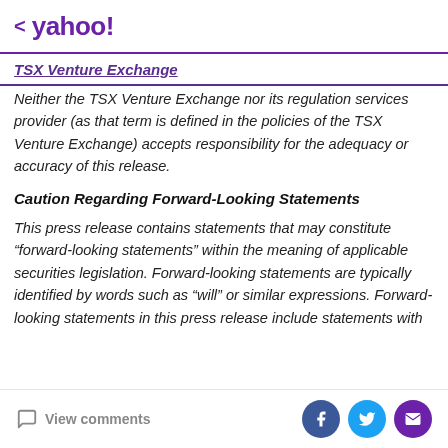< yahoo!
TSX Venture Exchange
Neither the TSX Venture Exchange nor its regulation services provider (as that term is defined in the policies of the TSX Venture Exchange) accepts responsibility for the adequacy or accuracy of this release.
Caution Regarding Forward-Looking Statements
This press release contains statements that may constitute “forward-looking statements” within the meaning of applicable securities legislation. Forward-looking statements are typically identified by words such as “will” or similar expressions. Forward-looking statements in this press release include statements with
View comments